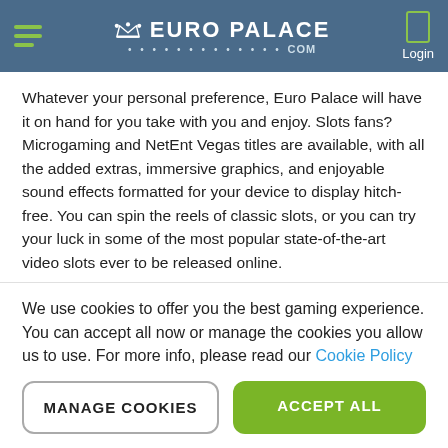Euro Palace .com — Login
Whatever your personal preference, Euro Palace will have it on hand for you take with you and enjoy. Slots fans? Microgaming and NetEnt Vegas titles are available, with all the added extras, immersive graphics, and enjoyable sound effects formatted for your device to display hitch-free. You can spin the reels of classic slots, or you can try your luck in some of the most popular state-of-the-art video slots ever to be released online.
There are progressive jackpot slots that could pay out at any moment. Both NetEnt and Microgaming are renowned for their amazing, innovative slots, and you can enjoy a wide selection of them on your mobile device. New slots are also added regularly to keep the range of mobile games fresh, fun and exciting.
We use cookies to offer you the best gaming experience. You can accept all now or manage the cookies you allow us to use. For more info, please read our Cookie Policy
MANAGE COOKIES
ACCEPT ALL